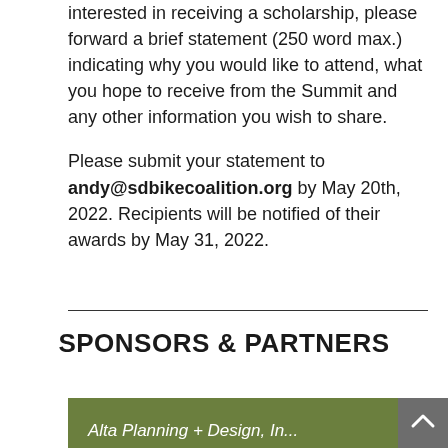interested in receiving a scholarship, please forward a brief statement (250 word max.) indicating why you would like to attend, what you hope to receive from the Summit and any other information you wish to share.
Please submit your statement to andy@sdbikecoalition.org by May 20th, 2022. Recipients will be notified of their awards by May 31, 2022.
SPONSORS & PARTNERS
[Figure (other): Green banner with white italic text 'Alta Planning + Design, In...' partially visible at bottom of page, with a dark grey scroll-to-top button with upward chevron arrow on the right side.]